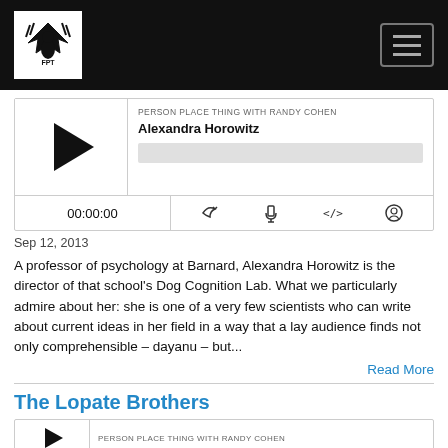PERSON PLACE THING WITH RANDY COHEN — site logo and navigation
[Figure (screenshot): Audio player widget for episode Alexandra Horowitz, showing play button, episode title, progress bar, timestamp 00:00:00, and controls for RSS, download, embed, and share]
Sep 12, 2013
A professor of psychology at Barnard, Alexandra Horowitz is the director of that school's Dog Cognition Lab. What we particularly admire about her: she is one of a very few scientists who can write about current ideas in her field in a way that a lay audience finds not only comprehensible – dayanu – but...
Read More
The Lopate Brothers
PERSON PLACE THING WITH RANDY COHEN